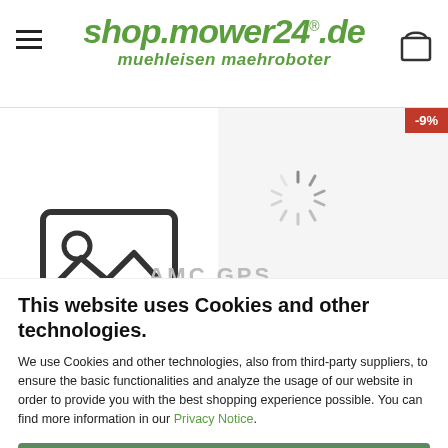shop.mower24®.de muehleisen maehroboter
[Figure (screenshot): Product listing page with image placeholder showing a generic image icon on the left, and a loading spinner with partial product title 'AMC GPS Modul Kit 2G + 3G and E-SIM (without...' on the right. A -9% discount badge is visible in the top right corner.]
This website uses Cookies and other technologies.
We use Cookies and other technologies, also from third-party suppliers, to ensure the basic functionalities and analyze the usage of our website in order to provide you with the best shopping experience possible. You can find more information in our Privacy Notice.
Accept all
More information